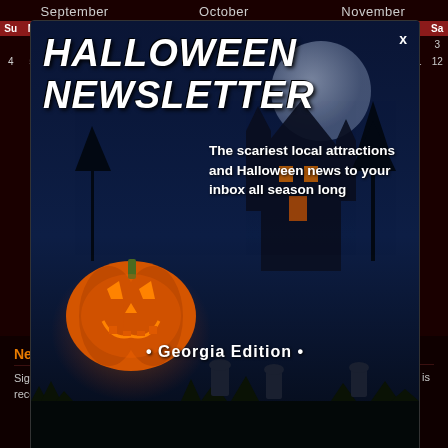| September | October | November |
| --- | --- | --- |
| Su M Tu W Th F Sa | Su M Tu W Th F Sa | Su M Tu W Th F Sa |
| – – – – – – – | – – – – – 1 2 | – – – – – 1 2 |
| 4 5 6 7 8 9 10 | 2 3 4 5 6 7 8 | 3 4 5 6 7 8 9 |
[Figure (screenshot): Halloween Newsletter modal popup with a glowing jack-o'-lantern pumpkin on the left, a haunted house silhouette, moon, and graveyard in the background. Title reads 'HALLOWEEN NEWSLETTER' with a close X. Text says 'The scariest local attractions and Halloween news to your inbox all season long'. Below: '• Georgia Edition •' and an email signup field with a Join button.]
Newsletter
Sign up for our newsletter and receive Halloween event
About AtlantaHauntedHouses.com
Founded in 2014, AtlantaHauntedHouses.com is a simple and unique online haunted event &